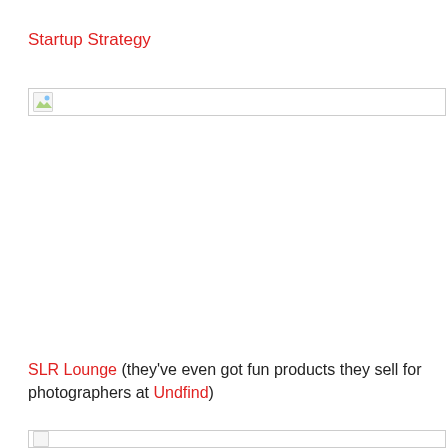Startup Strategy
[Figure (photo): Broken/placeholder image element at top of content area]
SLR Lounge (they've even got fun products they sell for photographers at Undfind)
[Figure (photo): Broken/placeholder image element at bottom of page]